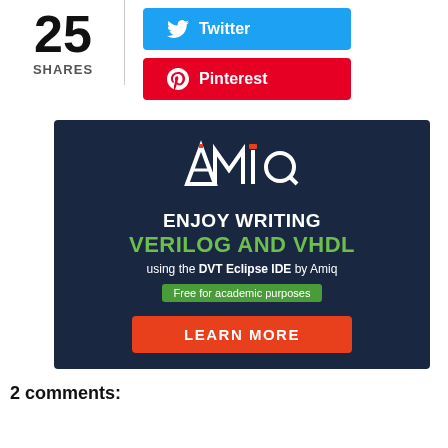25
SHARES
[Figure (logo): Twitter social share button, blue background with bird icon and 'Twitter' text]
[Figure (logo): Pinterest social share button, red background with P icon and 'Pinterest' text]
[Figure (infographic): Amiq advertisement banner on dark navy background. Logo 'AMIQ' at top. Text: ENJOY WRITING / VERILOG AND VHDL / using the DVT Eclipse IDE by Amiq / Free for academic purposes / LEARN MORE button]
2 comments: